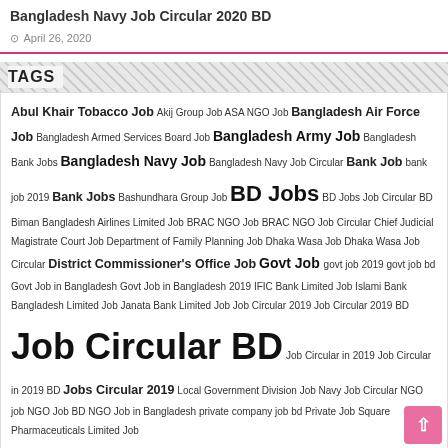Bangladesh Navy Job Circular 2020 BD
April 26, 2020
TAGS
Abul Khair Tobacco Job Akij Group Job ASA NGO Job Bangladesh Air Force Job Bangladesh Armed Services Board Job Bangladesh Army Job Bangladesh Bank Jobs Bangladesh Navy Job Bangladesh Navy Job Circular Bank Job bank job 2019 Bank Jobs Bashundhara Group Job BD Jobs BD Jobs Job Circular BD Biman Bangladesh Airlines Limited Job BRAC NGO Job BRAC NGO Job Circular Chief Judicial Magistrate Court Job Department of Family Planning Job Dhaka Wasa Job Dhaka Wasa Job Circular District Commissioner's Office Job Govt Job govt job 2019 govt job bd Govt Job in Bangladesh Govt Job in Bangladesh 2019 IFIC Bank Limited Job Islami Bank Bangladesh Limited Job Janata Bank Limited Job Job Circular 2019 Job Circular 2019 BD Job Circular BD Job Circular in 2019 Job Circular in 2019 BD Jobs Circular 2019 Local Government Division Job Navy Job Circular NGO job NGO Job BD NGO Job in Bangladesh private company job bd Private Job Square Pharmaceuticals Limited Job